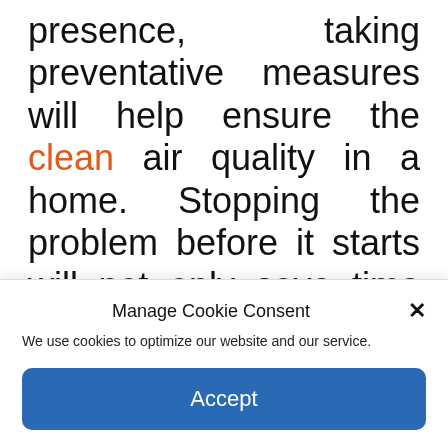presence, taking preventative measures will help ensure the clean air quality in a home. Stopping the problem before it starts will not only save time and money but will help prevent adverse health reactions from starting in the first place. Society as a whole may not focus nearly enough as we should on air quality, but that doesn't mean we can't start pushing for more awareness to become our own health
Manage Cookie Consent
We use cookies to optimize our website and our service.
Accept